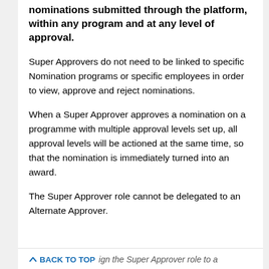nominations submitted through the platform, within any program and at any level of approval.
Super Approvers do not need to be linked to specific Nomination programs or specific employees in order to view, approve and reject nominations.
When a Super Approver approves a nomination on a programme with multiple approval levels set up, all approval levels will be actioned at the same time, so that the nomination is immediately turned into an award.
The Super Approver role cannot be delegated to an Alternate Approver.
BACK TO TOP  ign the Super Approver role to a